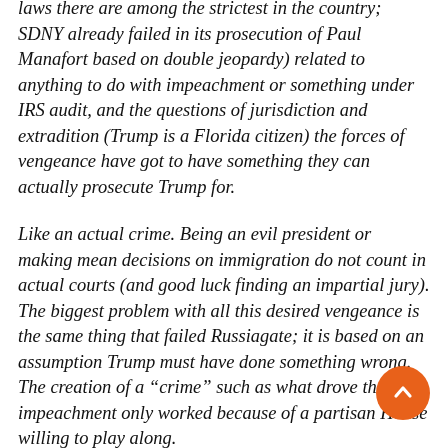laws there are among the strictest in the country; SDNY already failed in its prosecution of Paul Manafort based on double jeopardy) related to anything to do with impeachment or something under IRS audit, and the questions of jurisdiction and extradition (Trump is a Florida citizen) the forces of vengeance have got to have something they can actually prosecute Trump for.
Like an actual crime. Being an evil president or making mean decisions on immigration do not count in actual courts (and good luck finding an impartial jury). The biggest problem with all this desired vengeance is the same thing that failed Russiagate; it is based on an assumption Trump must have done something wrong. The creation of a “crime” such as what drove the impeachment only worked because of a partisan House willing to play along.
The New York state system is no such kangaroo court, and affords defendants far more protections than federal courts. There are strict rules governing evidence presented to a grand jury, and even minor procedural errors can result in indictments being thrown out. “If you’re a white-collar defendant, you’d rather be in New York State court than in federal court, as one of the panels,” said SDNY’s former...